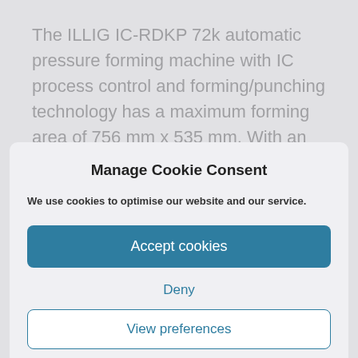The ILLIG IC-RDKP 72k automatic pressure forming machine with IC process control and forming/punching technology has a maximum forming area of 756 mm x 535 mm. With an actuated clamping frame the maximum forming area is 676 mm x 535 mm. The high
Manage Cookie Consent
We use cookies to optimise our website and our service.
Accept cookies
Deny
View preferences